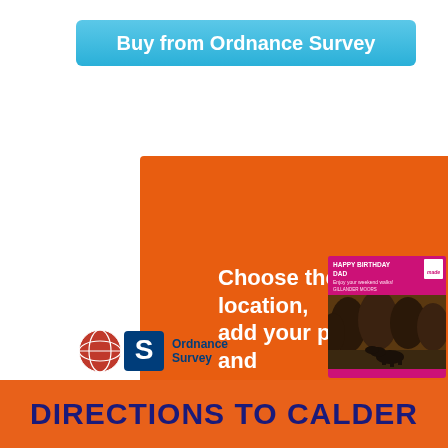[Figure (infographic): Cyan/blue gradient button with text 'Buy from Ordnance Survey']
[Figure (infographic): Orange advertisement banner for Ordnance Survey personalised maps with text 'Choose the location, add your photo and a message' and a sample map card showing a dog in forest with 'Happy Birthday Dad' message]
[Figure (logo): Ordnance Survey logo with circular globe icon and text 'Ordnance Survey']
[Figure (infographic): Purple 'Buy now' button]
DIRECTIONS TO CALDER